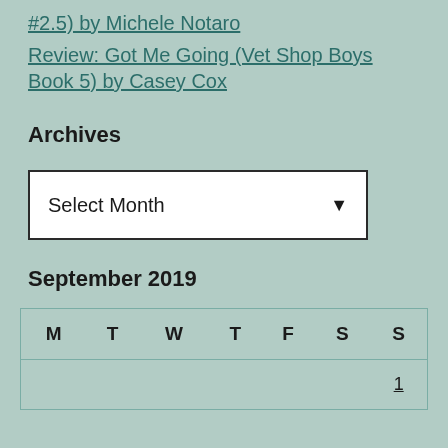#2.5) by Michele Notaro
Review: Got Me Going (Vet Shop Boys Book 5) by Casey Cox
Archives
Select Month
September 2019
| M | T | W | T | F | S | S |
| --- | --- | --- | --- | --- | --- | --- |
|  |  |  |  |  |  | 1 |